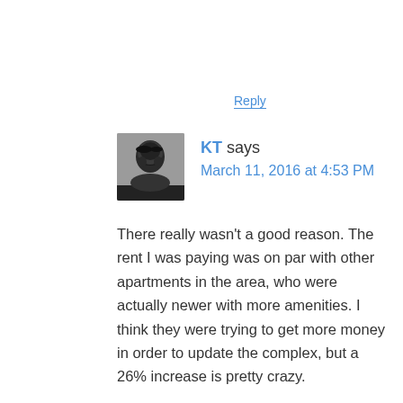Reply
KT says
March 11, 2016 at 4:53 PM
There really wasn't a good reason. The rent I was paying was on par with other apartments in the area, who were actually newer with more amenities. I think they were trying to get more money in order to update the complex, but a 26% increase is pretty crazy.
And from the landlord's perspective, absolutely it's a balancing act. You